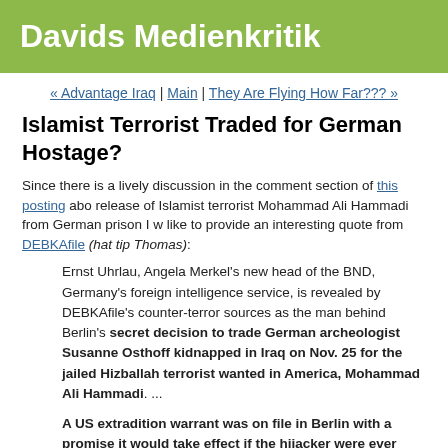Davids Medienkritik
« Advantage Iraq | Main | They Are Flying How Far??? »
Islamist Terrorist Traded for German Hostage?
Since there is a lively discussion in the comment section of this posting about the release of Islamist terrorist Mohammad Ali Hammadi from German prison I would like to provide an interesting quote from DEBKAfile (hat tip Thomas):
Ernst Uhrlau, Angela Merkel's new head of the BND, Germany's foreign intelligence service, is revealed by DEBKAfile's counter-terror sources as the man behind Berlin's secret decision to trade German archeologist Susanne Osthoff kidnapped in Iraq on Nov. 25 for the jailed Hizballah terrorist wanted in America, Mohammad Ali Hammadi. ...
A US extradition warrant was on file in Berlin with a promise it would take effect if the hijacker were ever released. A few days after the terrorist was flown to Beirut, Osthoff was freed by her Iraqi insurgent captors.